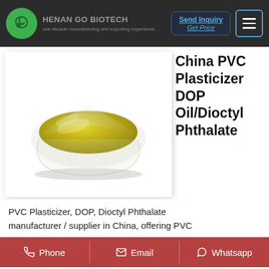HENAN GO BIOTECH — one decade manufacturing and exporting experience
[Figure (photo): Bowl of yellow/golden oil (DOP plasticizer) on white background]
China PVC Plasticizer DOP Oil/Dioctyl Phthalate
99.5% - China
PVC Plasticizer, DOP, Dioctyl Phthalate manufacturer / supplier in China, offering PVC
Phone  Email  Whatsapp
70% Manufacture, Factory Pigment Iron Oxide